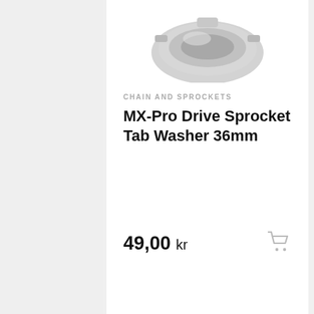[Figure (photo): Partial view of a metallic sprocket tab washer product image at the top of the first product card]
CHAIN AND SPROCKETS
MX-Pro Drive Sprocket Tab Washer 36mm
49,00 kr
[Figure (photo): Partial view of a metallic sprocket or lock nut product at the bottom of the page, beginning of second product card]